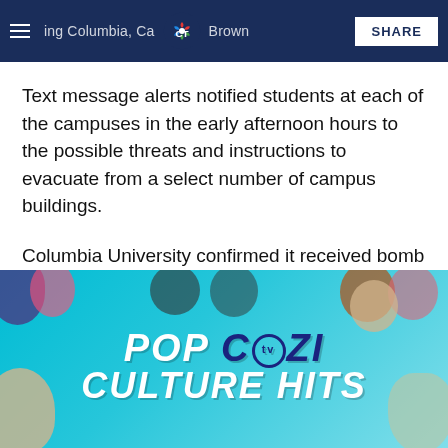including Columbia, Cornell, Brown — NBC CT  SHARE
Text message alerts notified students at each of the campuses in the early afternoon hours to the possible threats and instructions to evacuate from a select number of campus buildings.
Columbia University confirmed it received bomb threats around 2:30 p.m. that triggered a campus-wide alert.
[Figure (illustration): POP COZI TV CULTURE HITS advertisement banner with colorful illustrated faces/characters on a teal background]